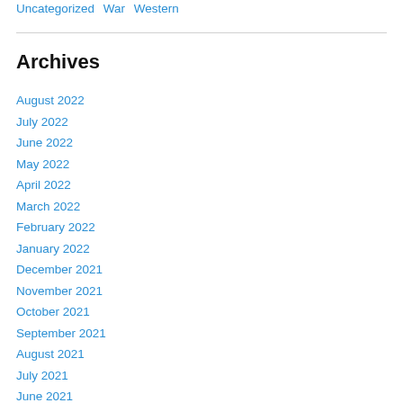Uncategorized  War  Western
Archives
August 2022
July 2022
June 2022
May 2022
April 2022
March 2022
February 2022
January 2022
December 2021
November 2021
October 2021
September 2021
August 2021
July 2021
June 2021